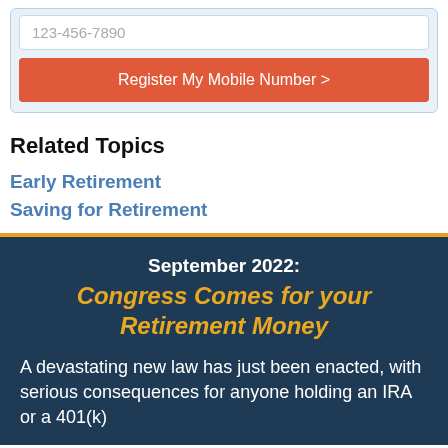[Figure (screenshot): Mobile phone number input field with placeholder text '123-456-7890' and a red 'Register My Mobile Number >' button below it, inside a light blue bordered box]
Related Topics
Early Retirement
Saving for Retirement
September 2022:
Congress Comes for your Retirement Money

A devastating new law has just been enacted, with serious consequences for anyone holding an IRA or a 401(k)